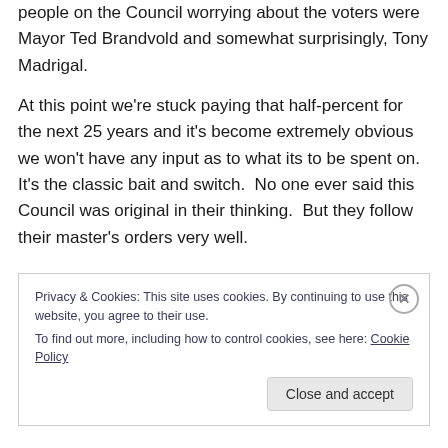people on the Council worrying about the voters were Mayor Ted Brandvold and somewhat surprisingly, Tony Madrigal.
At this point we're stuck paying that half-percent for the next 25 years and it's become extremely obvious we won't have any input as to what its to be spent on.  It's the classic bait and switch.  No one ever said this Council was original in their thinking.  But they follow their master's orders very well.
Privacy & Cookies: This site uses cookies. By continuing to use this website, you agree to their use.
To find out more, including how to control cookies, see here: Cookie Policy